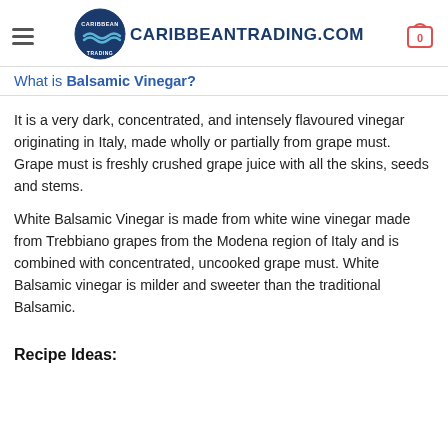CARIBBEANTRADING.COM
What is Balsamic Vinegar?
It is a very dark, concentrated, and intensely flavoured vinegar originating in Italy, made wholly or partially from grape must. Grape must is freshly crushed grape juice with all the skins, seeds and stems.
White Balsamic Vinegar is made from white wine vinegar made from Trebbiano grapes from the Modena region of Italy and is combined with concentrated, uncooked grape must. White Balsamic vinegar is milder and sweeter than the traditional Balsamic.
Recipe Ideas: